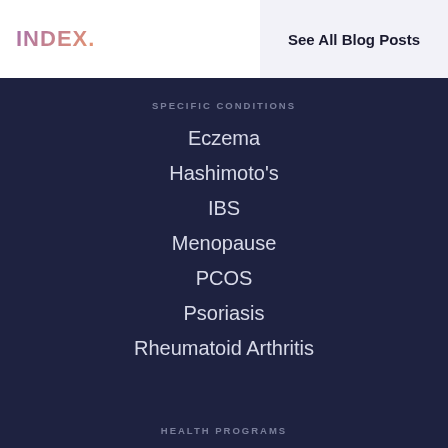INDEX.
See All Blog Posts
SPECIFIC CONDITIONS
Eczema
Hashimoto's
IBS
Menopause
PCOS
Psoriasis
Rheumatoid Arthritis
HEALTH PROGRAMS